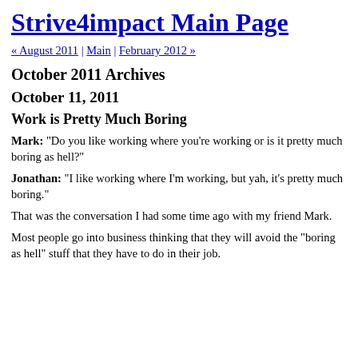Strive4impact Main Page
« August 2011 | Main | February 2012 »
October 2011 Archives
October 11, 2011
Work is Pretty Much Boring
Mark: "Do you like working where you're working or is it pretty much boring as hell?"
Jonathan: "I like working where I'm working, but yah, it's pretty much boring."
That was the conversation I had some time ago with my friend Mark.
Most people go into business thinking that they will avoid the "boring as hell" stuff that they have to do in their job.